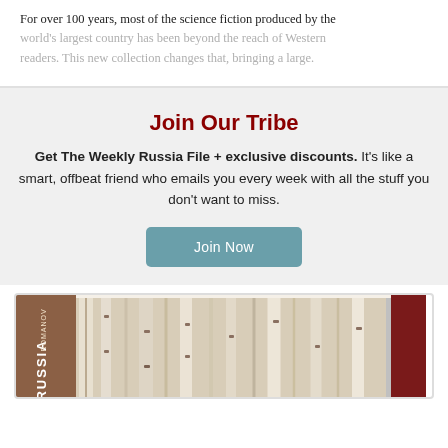For over 100 years, most of the science fiction produced by the world's largest country has been beyond the reach of Western readers. This new collection changes that, bringing a large.
Join Our Tribe
Get The Weekly Russia File + exclusive discounts. It's like a smart, offbeat friend who emails you every week with all the stuff you don't want to miss.
Join Now
[Figure (photo): Book cover showing birch forest trees with text 'RUSSIA' visible on spine, with a dark red/maroon border]